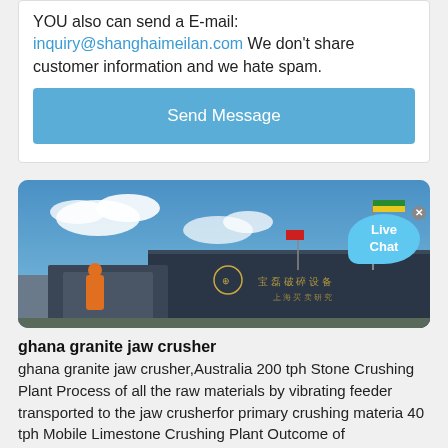YOU also can send a E-mail: inquiry@shanghaimeilan.com We don't share customer information and we hate spam.
Send Message
[Figure (photo): Industrial machinery scene with flags and blue sky, showing jaw crusher equipment with Chinese signage. A 'Live Chat' bubble is visible in the top right corner.]
ghana granite jaw crusher
ghana granite jaw crusher,Australia 200 tph Stone Crushing Plant Process of all the raw materials by vibrating feeder transported to the jaw crusherfor primary crushing materia 40 tph Mobile Limestone Crushing Plant Outcome of ProjectUnder the guidance of our engineer our 40 tph mobile limestone crushing plants run stably and well in many countries
600-800TPH stone crushing production line_Stone Crusher ...
2016-3-30 · 600-800 TPH stone crushing production line consists of jaw crusher, cone crusher, vibrating feeder